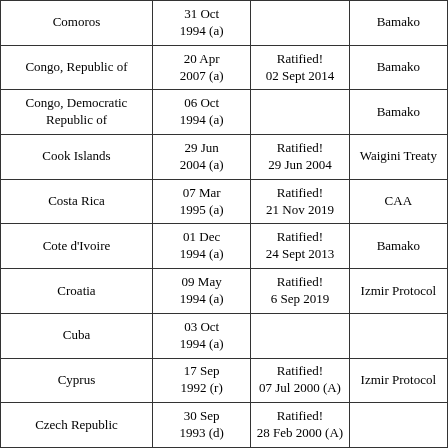| Comoros | 31 Oct 1994 (a) |  | Bamako |
| Congo, Republic of | 20 Apr 2007 (a) | Ratified! 02 Sept 2014 | Bamako |
| Congo, Democratic Republic of | 06 Oct 1994 (a) |  | Bamako |
| Cook Islands | 29 Jun 2004 (a) | Ratified! 29 Jun 2004 | Waigini Treaty |
| Costa Rica | 07 Mar 1995 (a) | Ratified! 21 Nov 2019 | CAA |
| Cote d'Ivoire | 01 Dec 1994 (a) | Ratified! 24 Sept 2013 | Bamako |
| Croatia | 09 May 1994 (a) | Ratified! 6 Sep 2019 | Izmir Protocol |
| Cuba | 03 Oct 1994 (a) |  |  |
| Cyprus | 17 Sep 1992 (r) | Ratified! 07 Jul 2000 (A) | Izmir Protocol |
| Czech Republic | 30 Sep 1993 (d) | Ratified! 28 Feb 2000 (A) |  |